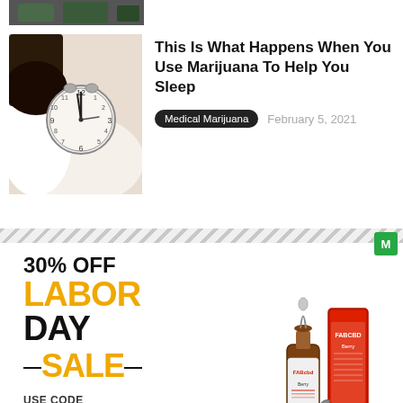[Figure (photo): Partial photo at top of page, dark tones, person sleeping]
[Figure (photo): Person sleeping next to alarm clock showing nearly midnight]
This Is What Happens When You Use Marijuana To Help You Sleep
Medical Marijuana   February 5, 2021
[Figure (infographic): FAB CBD Labor Day Sale advertisement: 30% OFF LABOR DAY SALE, USE CODE LABORDAY30, SHOP NOW button, product bottles shown]